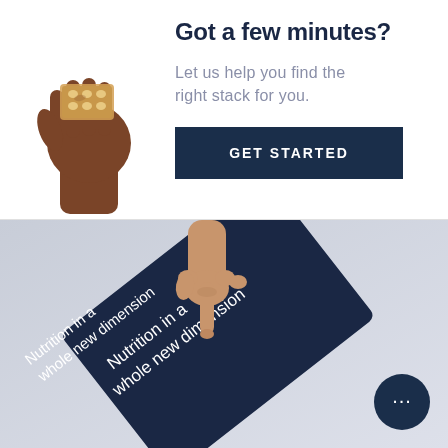[Figure (photo): A dark-skinned hand holding a small rectangular supplement stack/pill pack in a fist, raised against white background]
Got a few minutes?
Let us help you find the right stack for you.
GET STARTED
[Figure (photo): A light-skinned hand pointing downward with index finger touching the corner of a dark navy blue box. The box has white text reading 'Nutrition in a whole new dimension'. Background is light grey/blue.]